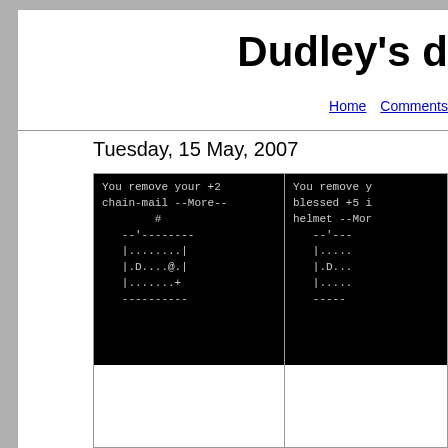Dudley's d
Home   Comments
Tuesday, 15 May, 2007
[Figure (screenshot): Terminal/roguelike game screenshot showing ASCII dungeon. Text reads: You remove your +2 chain-mail --More-- # --'-------- |........| |.D....@.| |.......+ ----------]
[Figure (screenshot): Partial terminal/roguelike game screenshot (cropped). Text reads: You remove y blessed +5 i helmet --Mor --'--- |..... |.D... |..... -----]